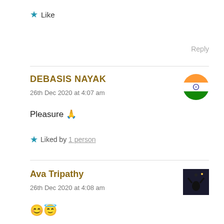★ Like
Reply
DEBASIS NAYAK
26th Dec 2020 at 4:07 am
Pleasure 🙏
★ Liked by 1 person
Ava Tripathy
26th Dec 2020 at 4:08 am
😊😇